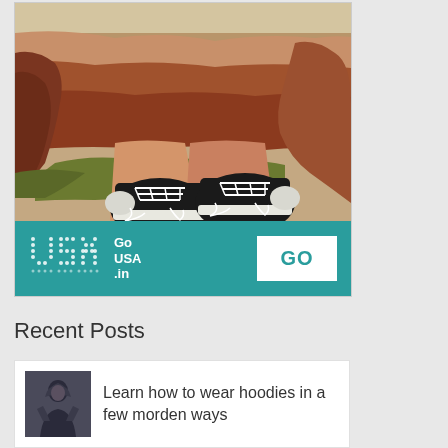[Figure (photo): Advertisement banner showing a photo of person's feet with black Converse sneakers dangling over the Grand Canyon. Below the photo is a teal/turquoise footer with a dot-matrix style 'USA' logo text, 'Go USA .in' brand name, and a white 'GO' button.]
Recent Posts
[Figure (photo): Small thumbnail image of a person wearing a dark hoodie]
Learn how to wear hoodies in a few morden ways